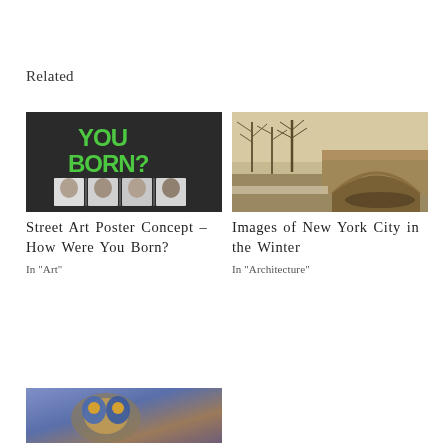Related
[Figure (photo): Street art poster showing 'YOU BORN?' text in green with faces below on dark background]
Street Art Poster Concept – How Were You Born?
In "Art"
[Figure (photo): Sepia-toned winter photo of New York City showing a stone bridge arch with bare trees and snow]
Images of New York City in the Winter
In "Architecture"
[Figure (photo): Colorful artistic image with blue and gold tones, partially visible at bottom of page]